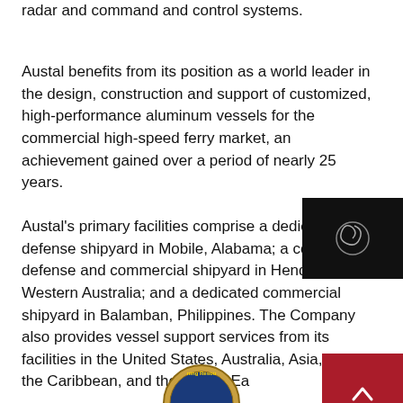radar and command and control systems.
Austal benefits from its position as a world leader in the design, construction and support of customized, high-performance aluminum vessels for the commercial high-speed ferry market, an achievement gained over a period of nearly 25 years.
Austal's primary facilities comprise a dedicated defense shipyard in Mobile, Alabama; a combined defense and commercial shipyard in Henderson, Western Australia; and a dedicated commercial shipyard in Balamban, Philippines. The Company also provides vessel support services from its facilities in the United States, Australia, Asia, Europe, the Caribbean, and the Middle East.
[Figure (logo): Partial circular badge/seal at bottom center of page]